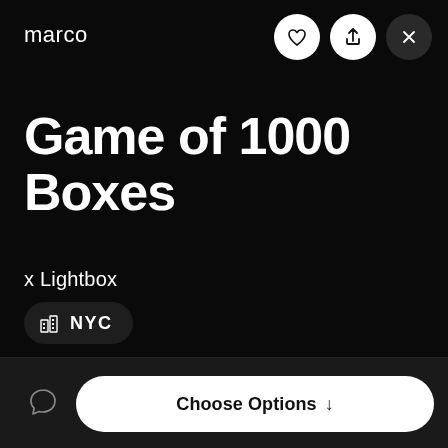marco
[Figure (other): Three circular icon buttons: heart (like), share/upload, and close (X). First two on white background, last on dark background.]
Game of 1000 Boxes
x Lightbox
NYC
[Figure (infographic): Horizontal rainbow gradient line separator]
[Figure (other): Chat/message bubble icon on dark background]
Choose Options ↓